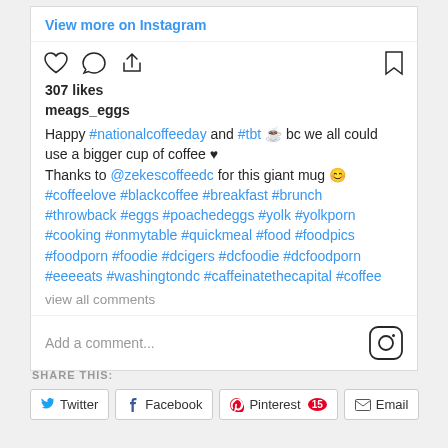View more on Instagram
307 likes
meags_eggs
Happy #nationalcoffeeday and #tbt ☕ bc we all could use a bigger cup of coffee ♥ Thanks to @zekescoffeedc for this giant mug 😊 #coffeelove #blackcoffee #breakfast #brunch #throwback #eggs #poachedeggs #yolk #yolkporn #cooking #onmytable #quickmeal #food #foodpics #foodporn #foodie #dcigers #dcfoodie #dcfoodporn #eeeeats #washingtondc #caffeinatethecapital #coffee
view all comments
Add a comment...
SHARE THIS:
Twitter  Facebook  Pinterest 15  Email